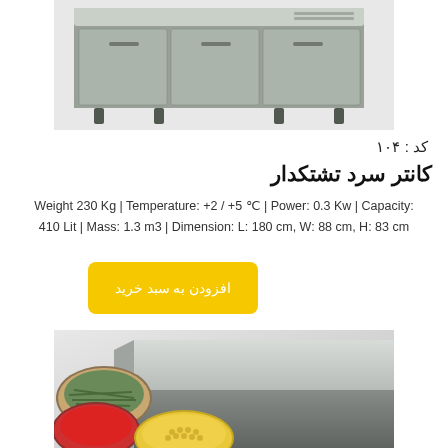[Figure (photo): Stainless steel commercial refrigerated counter unit / under-counter refrigerator, viewed from front-top angle, on gray background]
کد : ۱۰۴
کانتر سرد تشتکدار
Weight 230 Kg | Temperature: +2 / +5 °c | Power: 0.3 Kw | Capacity: 410 Lit | Mass: 1.3 m3 | Dimension: L: 180 cm, W: 88 cm, H: 83 cm
افزودن به سبد خرید
[Figure (photo): Stainless steel commercial prep/cold counter table with open canned food items (green beans, tomato paste, corn) visible in front on gray background]